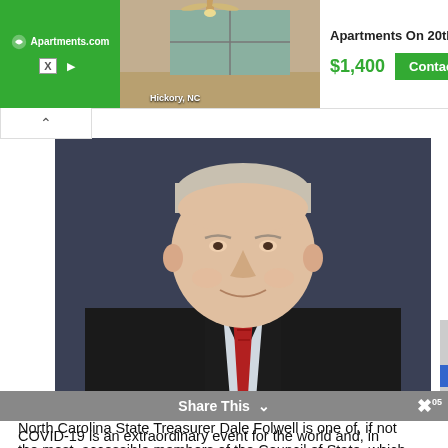[Figure (screenshot): Apartments.com advertisement banner showing an apartment interior photo with ceiling fan, location Hickory NC, price $1,400, and a green Contact button. Apartment name: Apartments On 20th.]
[Figure (photo): Headshot portrait of North Carolina State Treasurer Dale Folwell, a middle-aged man in a dark pinstripe suit with a red striped tie, against a dark blue background.]
North Carolina State Treasurer Dale Folwell is one of, if not the most, accessible members of the Council of State, which means it takes something extraordinary for Folwell not to be available to the press.
COVID-19 is an extraordinary event for the world and, in